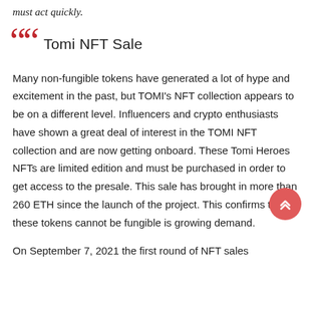must act quickly.
Tomi NFT Sale
Many non-fungible tokens have generated a lot of hype and excitement in the past, but TOMI's NFT collection appears to be on a different level. Influencers and crypto enthusiasts have shown a great deal of interest in the TOMI NFT collection and are now getting onboard. These Tomi Heroes NFTs are limited edition and must be purchased in order to get access to the presale. This sale has brought in more than 260 ETH since the launch of the project. This confirms that these tokens cannot be fungible is growing demand.
On September 7, 2021 the first round of NFT sales